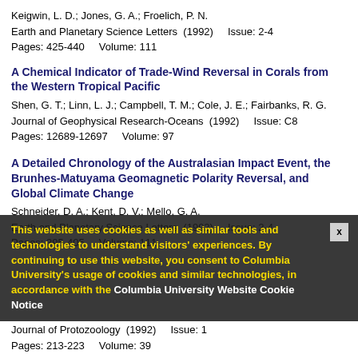Keigwin, L. D.; Jones, G. A.; Froelich, P. N.
Earth and Planetary Science Letters  (1992)    Issue: 2-4
Pages: 425-440    Volume: 111
A Chemical Indicator of Trade-Wind Reversal in Corals from the Western Tropical Pacific
Shen, G. T.; Linn, L. J.; Campbell, T. M.; Cole, J. E.; Fairbanks, R. G.
Journal of Geophysical Research-Oceans  (1992)    Issue: C8
Pages: 12689-12697    Volume: 97
A Detailed Chronology of the Australasian Impact Event, the Brunhes-Matuyama Geomagnetic Polarity Reversal, and Global Climate Change
Schneider, D. A.; Kent, D. V.; Mello, G. A.
Earth and Planetary Science Letters  (1992)    Issue: 2-4
Pages: 395-405    Volume: 111
Journal of Protozoology  (1992)    Issue: 1
Pages: 213-223    Volume: 39